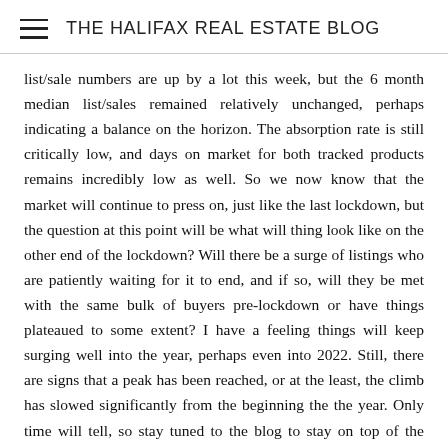THE HALIFAX REAL ESTATE BLOG
list/sale numbers are up by a lot this week, but the 6 month median list/sales remained relatively unchanged, perhaps indicating a balance on the horizon. The absorption rate is still critically low, and days on market for both tracked products remains incredibly low as well. So we now know that the market will continue to press on, just like the last lockdown, but the question at this point will be what will thing look like on the other end of the lockdown? Will there be a surge of listings who are patiently waiting for it to end, and if so, will they be met with the same bulk of buyers pre-lockdown or have things plateaued to some extent? I have a feeling things will keep surging well into the year, perhaps even into 2022. Still, there are signs that a peak has been reached, or at the least, the climb has slowed significantly from the beginning the the year. Only time will tell, so stay tuned to the blog to stay on top of the rapidly changing market! stay safe